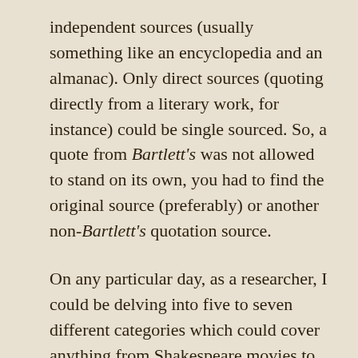independent sources (usually something like an encyclopedia and an almanac). Only direct sources (quoting directly from a literary work, for instance) could be single sourced. So, a quote from Bartlett's was not allowed to stand on its own, you had to find the original source (preferably) or another non-Bartlett's quotation source.
On any particular day, as a researcher, I could be delving into five to seven different categories which could cover anything from Shakespeare movies to astrophysics to word play to the Crimean War. The object was to make sure the writers had read their original source correctly (they only had to cite the